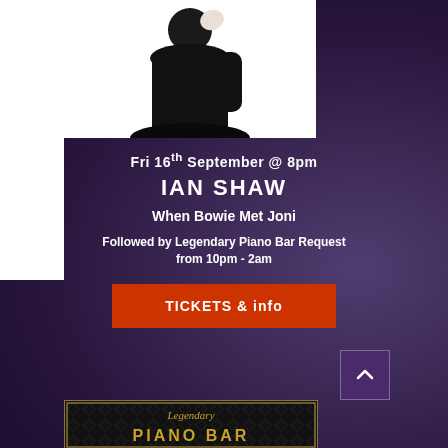[Figure (photo): Black and white photo of Ian Shaw, a man in dark clothing with hand near face]
Fri 16th September @ 8pm
IAN SHAW
When Bowie Met Joni
Followed by Legendary Piano Bar Request from 10pm - 2am
TICKETS & info
[Figure (photo): Legendary Piano Bar logo/image with gold text on dark background]